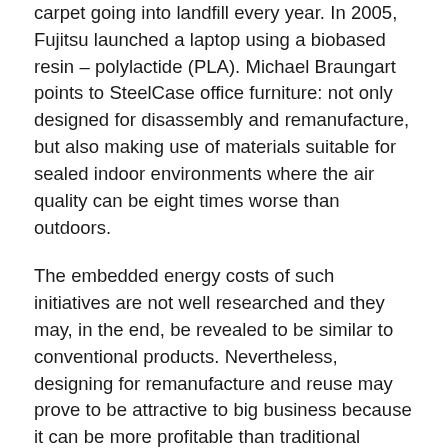carpet going into landfill every year. In 2005, Fujitsu launched a laptop using a biobased resin – polylactide (PLA). Michael Braungart points to SteelCase office furniture: not only designed for disassembly and remanufacture, but also making use of materials suitable for sealed indoor environments where the air quality can be eight times worse than outdoors.
The embedded energy costs of such initiatives are not well researched and they may, in the end, be revealed to be similar to conventional products. Nevertheless, designing for remanufacture and reuse may prove to be attractive to big business because it can be more profitable than traditional methods. Photocopiers made by remanufacture pioneer Xerox can have up to seven lives, which means seven revenue streams – although, as the Centre for Sustainable Design points out, design for remanufacture and reassembly can require a fundamental redesign of supply lines and factories, which many businesses feel ill-equipped either to envision or implement. To date, remanufacture amounts to around one